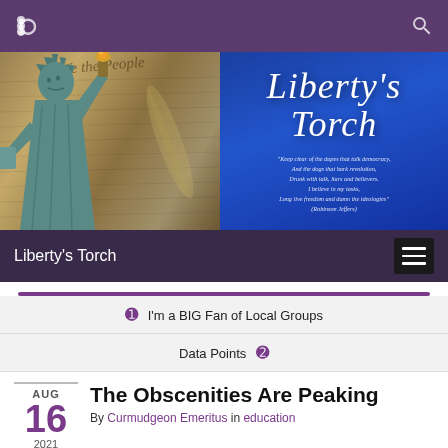Liberty's Torch
[Figure (illustration): Website banner showing Statue of Liberty on left with Constitution background, and 'Liberty's Torch' cursive title on blue background on right with a quote from Robinson Jeffers]
Liberty's Torch
I'm a BIG Fan of Local Groups
Data Points
The Obscenities Are Peaking
By Curmudgeon Emeritus in education
No, your Curmudgeon isn't talking about Afghanistan. That particular obscenity already has enough commentators piling